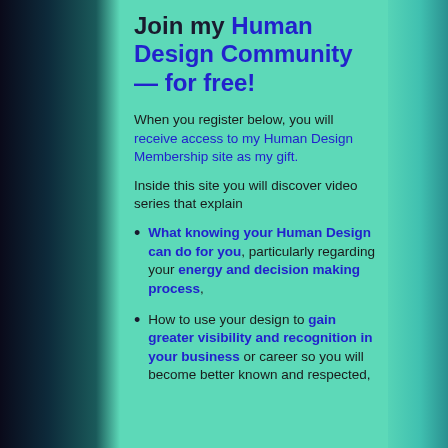Join my Human Design Community — for free!
When you register below, you will receive access to my Human Design Membership site as my gift.
Inside this site you will discover video series that explain
What knowing your Human Design can do for you, particularly regarding your energy and decision making process,
How to use your design to gain greater visibility and recognition in your business or career so you will become better known and respected,